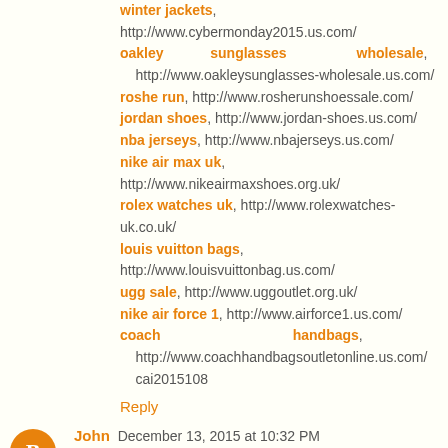winter jackets, http://www.cybermonday2015.us.com/
oakley sunglasses wholesale, http://www.oakleysunglasses-wholesale.us.com/
roshe run, http://www.rosherunshoessale.com/
jordan shoes, http://www.jordan-shoes.us.com/
nba jerseys, http://www.nbajerseys.us.com/
nike air max uk, http://www.nikeairmaxshoes.org.uk/
rolex watches uk, http://www.rolexwatches-uk.co.uk/
louis vuitton bags, http://www.louisvuittonbag.us.com/
ugg sale, http://www.uggoutlet.org.uk/
nike air force 1, http://www.airforce1.us.com/
coach handbags, http://www.coachhandbagsoutletonline.us.com/ cai2015108
Reply
John December 13, 2015 at 10:32 PM
jordan retro
ray-ban sunglasses
coach outlet store online
oakley sunglasses wholesale